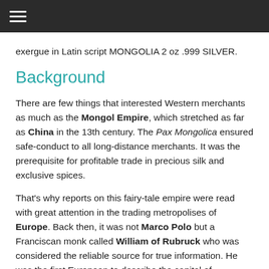≡ (hamburger menu)
exergue in Latin script MONGOLIA 2 oz .999 SILVER.
Background
There are few things that interested Western merchants as much as the Mongol Empire, which stretched as far as China in the 13th century. The Pax Mongolica ensured safe-conduct to all long-distance merchants. It was the prerequisite for profitable trade in precious silk and exclusive spices.
That's why reports on this fairy-tale empire were read with great attention in the trading metropolises of Europe. Back then, it was not Marco Polo but a Franciscan monk called William of Rubruck who was considered the reliable source for true information. He was the first European to describe the capital of